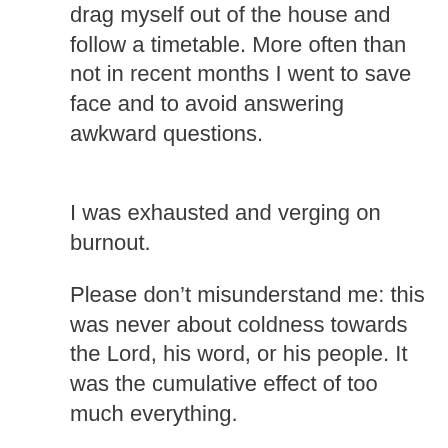drag myself out of the house and follow a timetable. More often than not in recent months I went to save face and to avoid answering awkward questions.
I was exhausted and verging on burnout.
Please don’t misunderstand me: this was never about coldness towards the Lord, his word, or his people. It was the cumulative effect of too much everything.
Now, I have the joy of worshiping without the tiredness. I can pare it all back to essentials and focus on the word and the praise.
This is not about one person’s convenience, of course, though I do wonder how many others feel as I do right now. It is about what the Lord is saying to his own